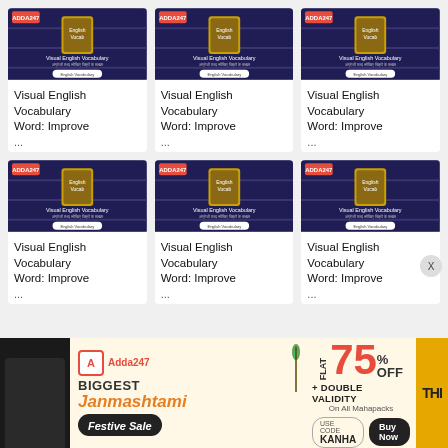[Figure (screenshot): Visual English Vocabulary book cover thumbnail - card 1]
Visual English Vocabulary Word: Improve ...
[Figure (screenshot): Visual English Vocabulary book cover thumbnail - card 2]
Visual English Vocabulary Word: Improve ...
[Figure (screenshot): Visual English Vocabulary book cover thumbnail - card 3]
Visual English Vocabulary Word: Improve ...
[Figure (screenshot): Visual English Vocabulary book cover thumbnail - card 4]
Visual English Vocabulary Word: Improve ...
[Figure (screenshot): Visual English Vocabulary book cover thumbnail - card 5]
Visual English Vocabulary Word: Improve ...
[Figure (screenshot): Visual English Vocabulary book cover thumbnail - card 6]
Visual English Vocabulary Word: Improve ...
[Figure (infographic): Adda247 Janmashtami Festive Sale banner - Flat 75% OFF + Double Validity on All Mahapacks, Use Code KANHA]